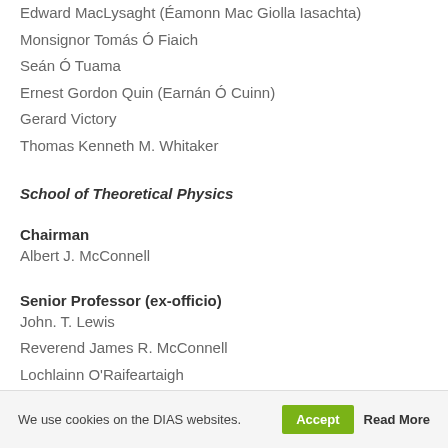Edward MacLysaght (Éamonn Mac Giolla Iasachta)
Monsignor Tomás Ó Fiaich
Seán Ó Tuama
Ernest Gordon Quin (Earnán Ó Cuinn)
Gerard Victory
Thomas Kenneth M. Whitaker
School of Theoretical Physics
Chairman
Albert J. McConnell
Senior Professor (ex-officio)
John. T. Lewis
Reverend James R. McConnell
Lochlainn O'Raifeartaigh
We use cookies on the DIAS websites. Accept Read More